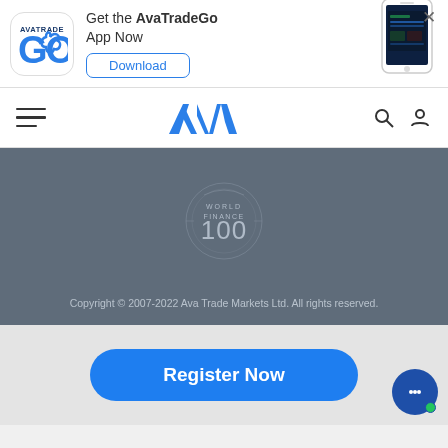[Figure (screenshot): AvaTrade GO app banner with logo, 'Get the AvaTradeGo App Now' text, Download button, phone screenshot, and close X button]
[Figure (logo): AvaTrade AVA logo in navigation bar with hamburger menu, search and profile icons]
[Figure (logo): World Finance 100 badge in dark footer section]
Copyright © 2007-2022 Ava Trade Markets Ltd. All rights reserved.
[Figure (other): Blue rounded 'Register Now' button and chat bubble icon]